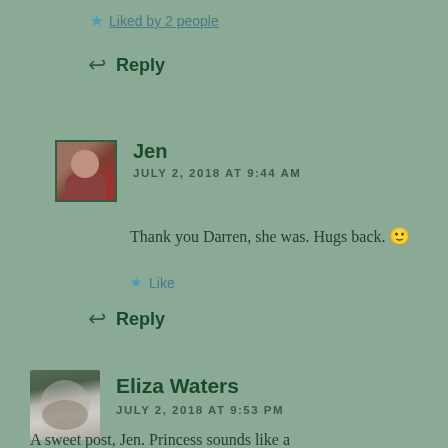★ Liked by 2 people
↩ Reply
Jen
JULY 2, 2018 AT 9:44 AM
Thank you Darren, she was. Hugs back. 🙂
★ Like
↩ Reply
Eliza Waters
JULY 2, 2018 AT 9:53 PM
A sweet post, Jen. Princess sounds like a